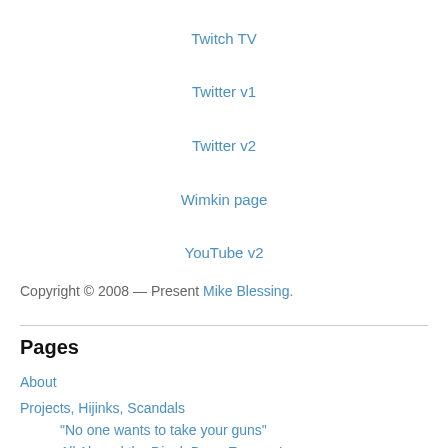Twitch TV
Twitter v1
Twitter v2
Wimkin page
YouTube v2
Copyright © 2008 — Present Mike Blessing.
Pages
About
Projects, Hijinks, Scandals
“No one wants to take your guns”
All Aboard the DingleBerry Express!